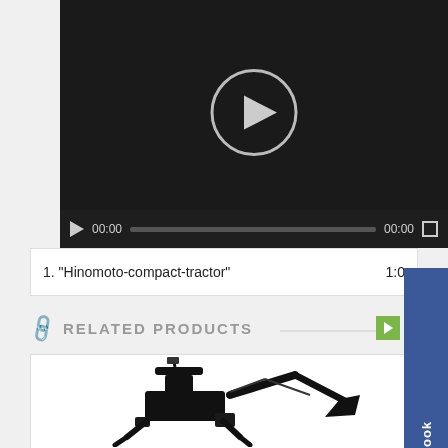[Figure (screenshot): Video player showing a dark background with a circular play button in the center, and a video control bar at the bottom with play icon, time display '00:00', progress bar, and fullscreen button.]
1. "Hinomoto-compact-tractor"   1:0
[Figure (screenshot): Facebook social tab button on the right side of the page.]
RELATED PRODUCTS
[Figure (photo): Black compact tractor backhoe attachment against a white background.]